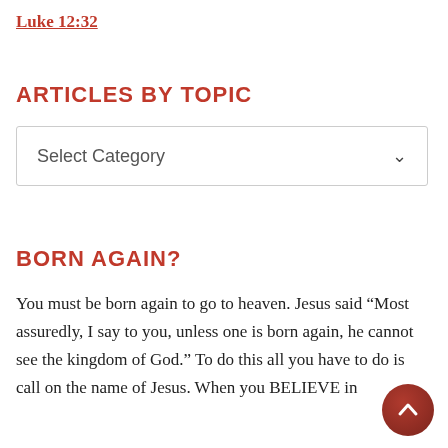Luke 12:32
ARTICLES BY TOPIC
[Figure (screenshot): A dropdown select box with placeholder text 'Select Category' and a downward chevron arrow on the right side, bordered by a light gray rectangle.]
BORN AGAIN?
You must be born again to go to heaven. Jesus said “Most assuredly, I say to you, unless one is born again, he cannot see the kingdom of God.” To do this all you have to do is call on the name of Jesus. When you BELIEVE in